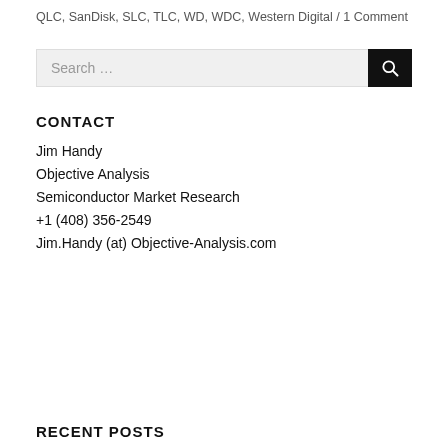QLC, SanDisk, SLC, TLC, WD, WDC, Western Digital / 1 Comment
[Figure (other): Search bar with text input field labeled 'Search ...' and a black search button with magnifying glass icon]
CONTACT
Jim Handy
Objective Analysis
Semiconductor Market Research
+1 (408) 356-2549
Jim.Handy (at) Objective-Analysis.com
RECENT POSTS